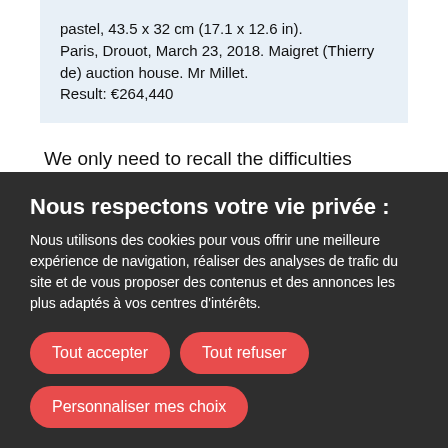pastel, 43.5 x 32 cm (17.1 x 12.6 in).
Paris, Drouot, March 23, 2018. Maigret (Thierry de) auction house. Mr Millet.
Result: €264,440
We only need to recall the difficulties women artists had in gaining acceptance to the Académie and participating in the Salons of the final years of the aptly named Ancien Régime (Old Regime, the Kingdom of France before 1789) to appreciate how far they have come in a
Nous respectons votre vie privée :
Nous utilisons des cookies pour vous offrir une meilleure expérience de navigation, réaliser des analyses de trafic du site et de vous proposer des contenus et des annonces les plus adaptés à vos centres d'intérêts.
Tout accepter
Tout refuser
Personnaliser mes choix